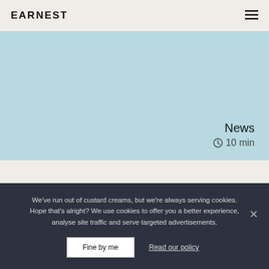EARNEST
[Figure (other): Light blue banner image area with 'News' label and '10 min' reading time indicator in bottom right]
We've run out of custard creams, but we're always serving cookies. Hope that's alright? We use cookies to offer you a better experience, analyse site traffic and serve targeted advertisements.
Fine by me   Read our policy